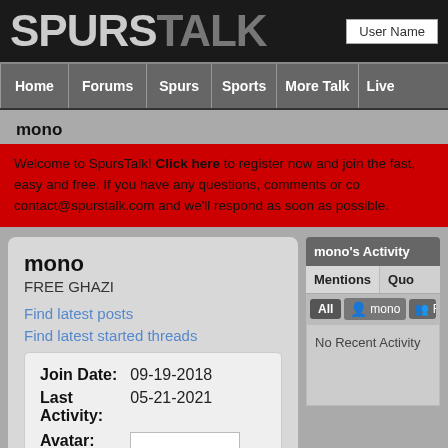SPURSTALK
User Name
Home | Forums | Spurs | Sports | More Talk | Live
mono
Welcome to SpursTalk! Click here to register now and join the fast, easy and free. If you have any questions, comments or co contact@spurstalk.com and we'll respond as soon as possible.
mono
FREE GHAZI
Find latest posts
Find latest started threads
| Field | Value |
| --- | --- |
| Join Date: | 09-19-2018 |
| Last Activity: | 05-21-2021 |
| Avatar: |  |
mono's Activity
Mentions | Quo
All | mono | Friends
No Recent Activity